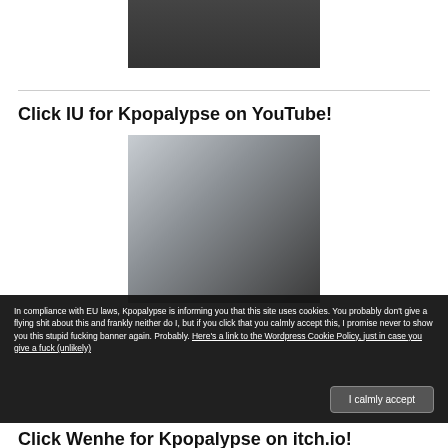[Figure (photo): Partial photo of a person at the top of the page]
Click IU for Kpopalypse on YouTube!
[Figure (photo): Photo of IU, a Korean singer, posing with hand near face wearing dark clothing]
In compliance with EU laws, Kpopalypse is informing you that this site uses cookies. You probably don't give a flying shit about this and frankly neither do I, but if you click that you calmly accept this, I promise never to show you this stupid fucking banner again. Probably. Here's a link to the Wordpress Cookie Policy, just in case you give a fuck (unlikely)
I calmly accept
Click Wenhe for Kpopalypse on itch.io!